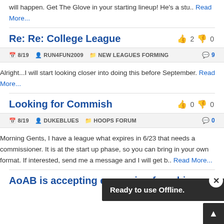will happen. Get The Glove in your starting lineup! He's a stu.. Read More...
Re: Re: College League
8/19  RUN4FUN2009  NEW LEAGUES FORMING  9
Alright...I will start looking closer into doing this before September. Read More...
Looking for Commish
8/19  DUKEBLUES  HOOPS FORUM  0
Morning Gents, I have a league what expires in 6/23 that needs a commissioner. It is at the start up phase, so you can bring in your own format. If interested, send me a message and I will get b.. Read More...
AoAB is accepting expansion franchises